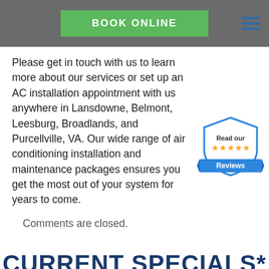BOOK ONLINE
Please get in touch with us to learn more about our services or set up an AC installation appointment with us anywhere in Lansdowne, Belmont, Leesburg, Broadlands, and Purcellville, VA. Our wide range of air conditioning installation and maintenance packages ensures you get the most out of your system for years to come.
[Figure (illustration): Shield badge graphic with 'Read our' text, five gold stars, and 'Reviews' on a blue ribbon banner]
Comments are closed.
CURRENT SPECIALS*
*With Any Paid Repair